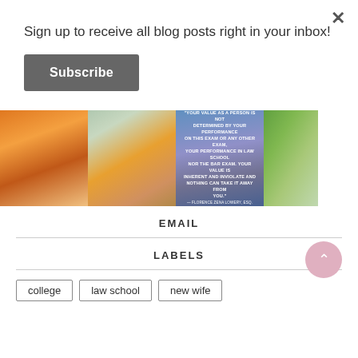Sign up to receive all blog posts right in your inbox!
Subscribe
[Figure (photo): Four Instagram-style photos in a horizontal strip: (1) woman sitting on bed with warm sunset background, (2) woman holding a pumpkin near a WELCOME sign, (3) dark blue/purple sky with a motivational quote about value not being determined by exam performance, (4) partial view of a person outdoors with greenery.]
EMAIL
LABELS
college
law school
new wife